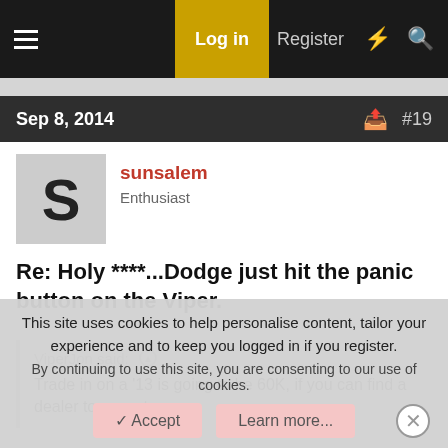Log in  Register
Sep 8, 2014  #19
[Figure (other): User avatar with letter S on gray background]
sunsalem
Enthusiast
Re: Holy ****...Dodge just hit the panic button on the Viper.
ViperJon said:
Trade in on a '13 is going to be 60K, if you can find a dealer to accept
This site uses cookies to help personalise content, tailor your experience and to keep you logged in if you register.
By continuing to use this site, you are consenting to our use of cookies.